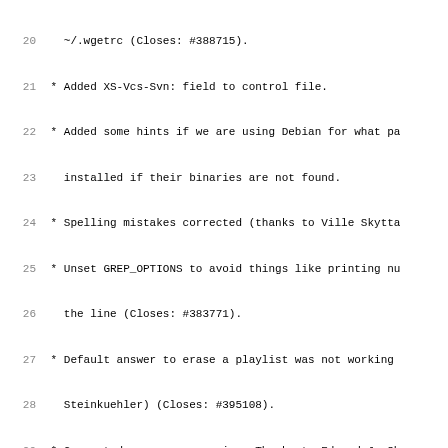Debian changelog code listing lines 20-51
20   ~/.wgetrc (Closes: #388715).
21 * Added XS-Vcs-Svn: field to control file.
22 * Added some hints if we are using Debian for what pa
23   installed if their binaries are not found.
24 * Spelling mistakes corrected (thanks to Ville Skytta
25 * Unset GREP_OPTIONS to avoid things like printing nu
26   the line (Closes: #383771).
27 * Default answer to erase a playlist was not working
28   Steinkuehler) (Closes: #395108).
29 * Corrected man page wrapping. Thanks to Edward J. Sh
30   (Closes: #399289).
31 * Adds DISCNUMBER to Ogg/Vorbis and FLAC when using -
32 * Minor typos (Closes: #458995).
33 * Added AtomicParley for AAC encoding. Thanks to Bill
34 * Added by Marc Staveley:
35   - post_encode hook.
36   - track comments if null and present in CDDB.
37 * Corrected copyright information (Closes: #516535).
38
39   [ Colin Tuckley ]
40 * Added new uploader (Closes: #529695).
41 * Fix Lintian warning for make-clean-error.
42 * Fix FSF address in debian/copyright.
43 * Fix binary-arch-rules-but-pkg-is-arch-indep lintian
44 * Add homepage: field to debian/control
45 * Update standards version to 3.8.0
46 * Remove debian/conffiles (it is not needed).
47 * Fix syntax error in abcde (missing fi).
48
49 -- Colin Tuckley <colint@debian.org>  Sat, 25 Jul 2009
50
51 abcde (2.3.99.6-1) unstable; urgency=low